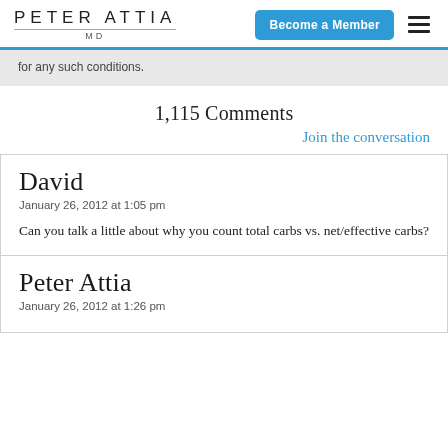PETER ATTIA MD | Become a Member
for any such conditions.
1,115 Comments
Join the conversation
David
January 26, 2012 at 1:05 pm

Can you talk a little about why you count total carbs vs. net/effective carbs?
Peter Attia
January 26, 2012 at 1:26 pm